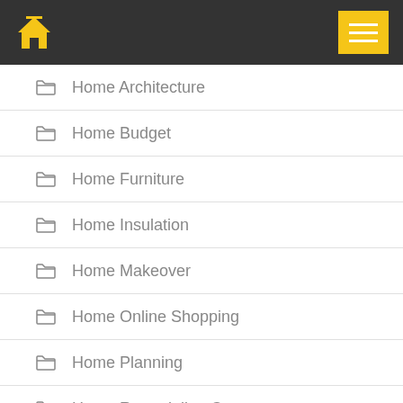Home navigation menu header
Home Architecture
Home Budget
Home Furniture
Home Insulation
Home Makeover
Home Online Shopping
Home Planning
Home Remodeling Costs